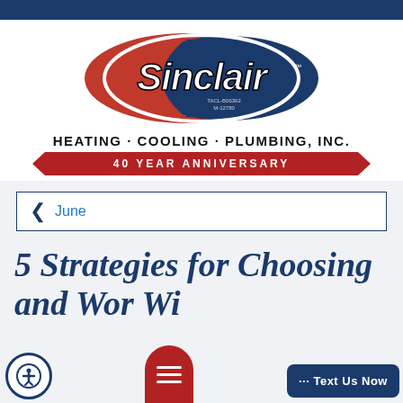[Figure (logo): Sinclair Heating Cooling Plumbing Inc. logo — red and blue oval with Sinclair script text, TACL license numbers, 40 Year Anniversary ribbon banner]
HEATING · COOLING · PLUMBING, INC.
40 YEAR ANNIVERSARY
June
5 Strategies for Choosing and Working Wi...